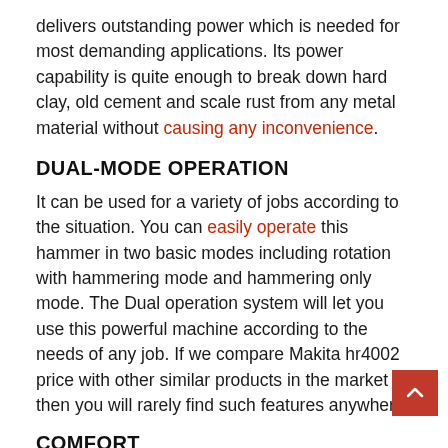delivers outstanding power which is needed for most demanding applications. Its power capability is quite enough to break down hard clay, old cement and scale rust from any metal material without causing any inconvenience.
DUAL-MODE OPERATION
It can be used for a variety of jobs according to the situation. You can easily operate this hammer in two basic modes including rotation with hammering mode and hammering only mode. The Dual operation system will let you use this powerful machine according to the needs of any job. If we compare Makita hr4002 price with other similar products in the market then you will rarely find such features anywhere.
COMFORT
This outstanding Rotary hammer will provide the utmost comfort due to its soft grip handle. It will minimize the